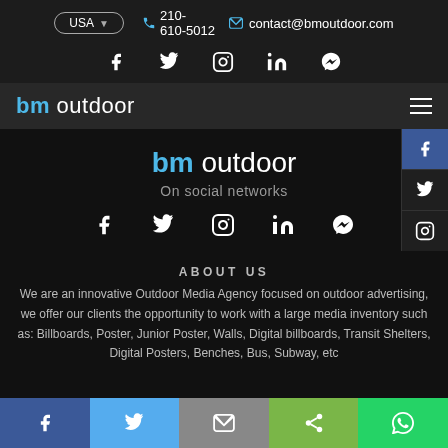USA  210-610-5012  contact@bmoutdoor.com
[Figure (screenshot): Social media icons row: Facebook, Twitter, Instagram, LinkedIn, Messenger]
[Figure (logo): bm outdoor logo and navigation bar with hamburger menu]
[Figure (screenshot): bm outdoor social panel with heading On social networks and social media icons]
ABOUT US
We are an innovative Outdoor Media Agency focused on outdoor advertising, we offer our clients the opportunity to work with a large media inventory such as: Billboards, Poster, Junior Poster, Walls, Digital billboards, Transit Shelters, Digital Posters, Benches, Bus, Subway, etc
Bottom share bar: Facebook, Twitter, Email, Share, WhatsApp